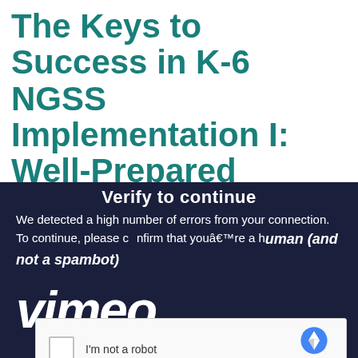The Keys to Success in K-6 NGSS Implementation I: Well-Prepared Teachers, Excellent Programs
[Figure (screenshot): A Vimeo video overlay showing a CAPTCHA verification screen. Dark navy background with white text reading 'Verify to continue', followed by 'We detected a high number of errors from your connection. To continue, please confirm that youâ€™re a human (and not a spambot)'. The Vimeo logo in large italic bold white text is partially visible. Below is a reCAPTCHA widget on a light background with a checkbox, 'I’m not a robot' label, and reCAPTCHA logo with Privacy and Terms links.]